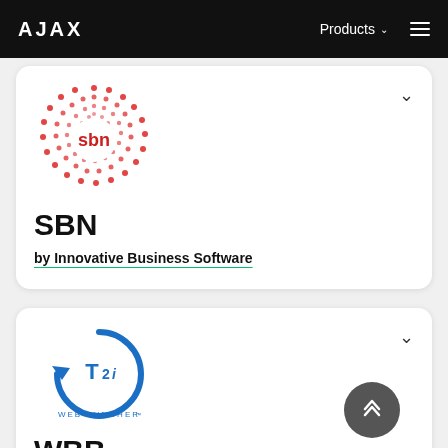AJAX  Products ☰
[Figure (logo): SBN logo — circular dot pattern in red/pink with 'sbn' text in the center]
SBN
by Innovative Business Software
[Figure (logo): T2i Web Buncher logo — blue circular arrow with 'T2i' text and 'WEB BUNCHER' below]
WBB
by T2i